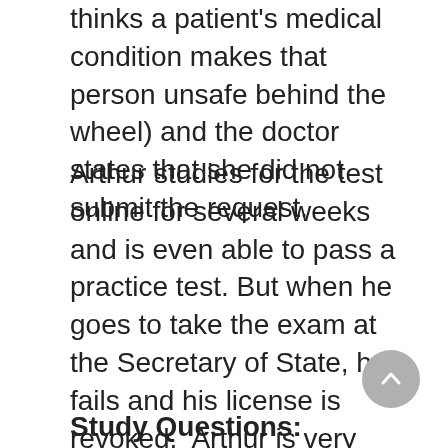thinks a patient's medical condition makes that person unsafe behind the wheel) and the doctor states that she did not submit the request.
Arthur studies for the test online for several weeks and is even able to pass a practice test. But when he goes to take the exam at the Secretary of State, he fails and his license is revoked.  Arthur is very upset at this outcome, as he fears he will lose his independence. Soon after, his family arranges for his car to be sold. Without his car, Arthur makes fewer trips to the store, to his friends' homes, and to the dog park, because the bus schedule is sporadic and he does not want to burden his children by asking for rides.
Study Questions: